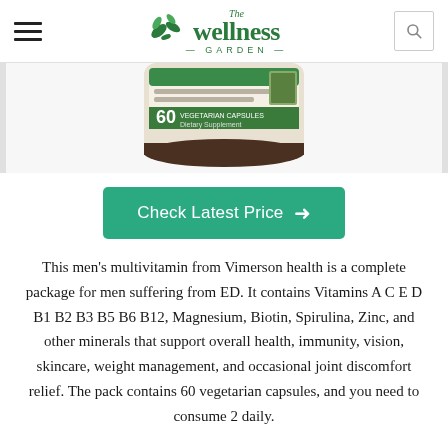The Wellness Garden — navigation bar with hamburger menu and search icon
[Figure (photo): Partial product shot of a Vimerson Health men's multivitamin bottle, showing the label with 60 Vegetarian Capsules Dietary Supplement and Advanced Daily Multivitamin Complex text, cropped at top of page]
Check Latest Price →
This men's multivitamin from Vimerson health is a complete package for men suffering from ED. It contains Vitamins A C E D B1 B2 B3 B5 B6 B12, Magnesium, Biotin, Spirulina, Zinc, and other minerals that support overall health, immunity, vision, skincare, weight management, and occasional joint discomfort relief. The pack contains 60 vegetarian capsules, and you need to consume 2 daily.